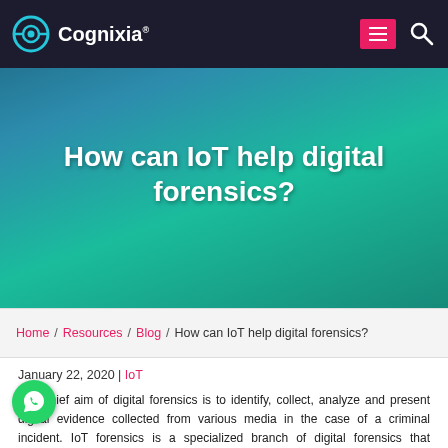[Figure (logo): Cognixia logo with circular icon and white text on dark header bar]
How can IoT help digital forensics?
Home / Resources / Blog / How can IoT help digital forensics?
January 22, 2020 | IoT
The chief aim of digital forensics is to identify, collect, analyze and present digital evidence collected from various media in the case of a criminal incident. IoT forensics is a specialized branch of digital forensics that encompasses investigations using/of connected devices, sensors, data stored on different platforms, etc.
IoT or Internet of Things is a rapidly growing technology, creating countless opportunities and challenges for investigators looking into any type of crime, be it in cyberattacks or physical assaults. IoT environments are connected and dynamic, they can be altered from anywhere without a hitch. IoT devices generally have a sensor or actuator that generates data – could be autonomously or in response to specific manual actions, making them great digital